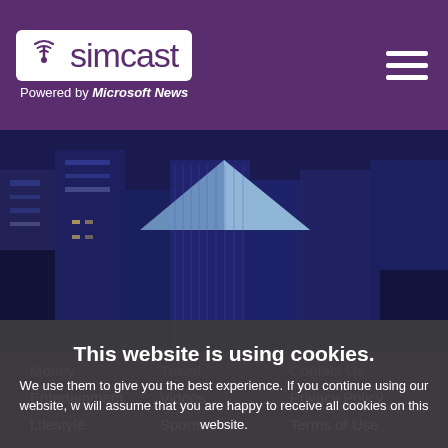simcast — Powered by Microsoft News
[Figure (photo): Aerial view of blue glass skyscrapers in a city financial district, with an overlay text caption]
Your Market Brief News Update on 08/28/2022
This website is using cookies. We use them to give you the best experience. If you continue using our website, we will assume that you are happy to receive all cookies on this website.
Continue | Learn more
Money   Travel   Contact Us
Entertainment   Videos   Privacy Policy
Lifestyle   Sports   Terms of Use